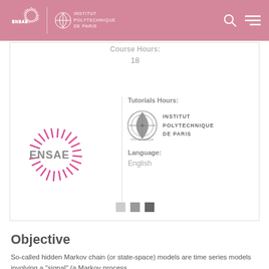ENSAE | INSTITUT POLYTECHNIQUE DE PARIS
Course Hours:
18
[Figure (logo): ENSAE logo with red sunburst radial lines on left, and Institut Polytechnique de Paris logo with text on right]
Tutorials Hours:
Language:
English
Objective
So-called hidden Markov chain (or state-space) models are time series models involving a "signal" (a Markov process